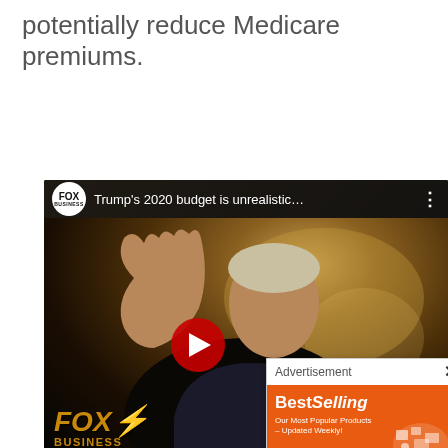potentially reduce Medicare premiums.
[Figure (screenshot): Fox Business Network YouTube video thumbnail showing Trump's 2020 budget is unrealistic..., with a play button overlay and an AliExpress advertisement popup]
Advertisement - BestSelling Our Most Popular Products – Updated Weekly! AliExpress Shop Now